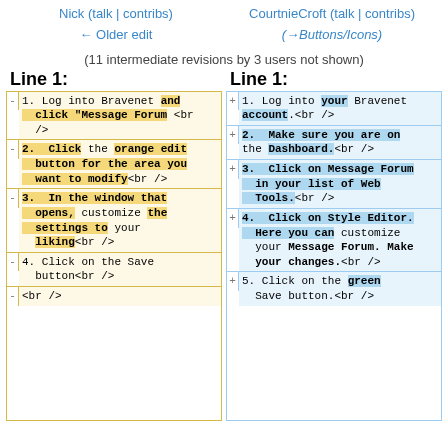Nick (talk | contribs)
← Older edit

CourtnieCroft (talk | contribs)
(→Buttons/Icons)
(11 intermediate revisions by 3 users not shown)
| Line 1: | Line 1: |
| --- | --- |
| -1. Log into Bravenet and click "Message Forum <br /> | +1. Log into your Bravenet account.<br /> |
| -2. Click the orange edit button for the area you want to modify<br /> | +2. Make sure you are on the Dashboard.<br /> |
| -3. In the window that opens, customize the settings to your liking<br /> | +3. Click on Message Forum in your list of Web Tools.<br /> |
| -4. Click on the Save button<br /> | +4. Click on Style Editor. Here you can customize your Message Forum. Make your changes.<br /> |
| -<br /> | +5. Click on the green Save button.<br /> |